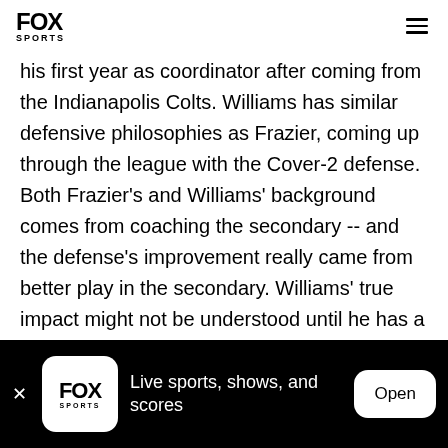FOX SPORTS
his first year as coordinator after coming from the Indianapolis Colts. Williams has similar defensive philosophies as Frazier, coming up through the league with the Cover-2 defense. Both Frazier's and Williams' background comes from coaching the secondary -- and the defense's improvement really came from better play in the secondary. Williams' true impact might not be understood until he has a couple of years under his belt as coordinator. Improved health also was -- and is -- a big part of the
Live sports, shows, and scores